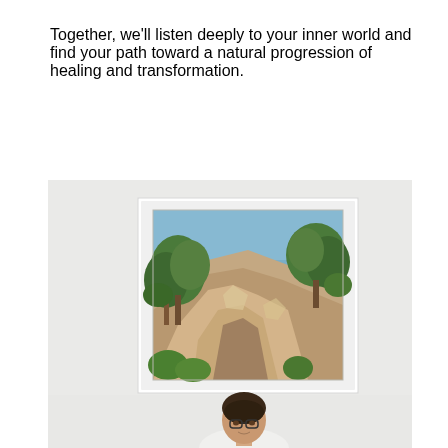Together, we'll listen deeply to your inner world and find your path toward a natural progression of healing and transformation.
[Figure (photo): A therapist or practitioner standing in front of a white wall with a framed colorful painting depicting a rocky landscape with trees and blue sky. The woman has dark hair pulled back and wears glasses.]